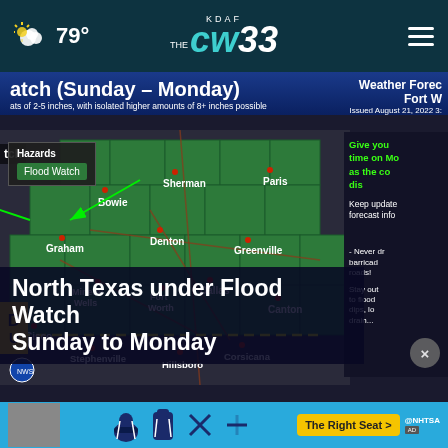79° KDAF THE CW 33
[Figure (map): Weather map showing North Texas counties under Flood Watch (Sunday-Monday), issued August 21, 2022. Counties highlighted in green include Bowie, Sherman, Paris, Graham, Denton, Greenville, Mineral Wells, Fort Worth, Dallas, Canton, Cisco, Stephenville, Hillsboro, Corsicana. Yellow dashed line marks southern boundary of watch area. Legend shows 'Hazards' with 'Flood Watch' box. Title overlay reads 'Watch (Sunday - Monday)' with subtitle 'amounts of 2-5 inches, with isolated higher amounts of 8+ inches possible'. Right side shows partial text about Weather Forecast, Fort Worth, Issued August 21, 2022.]
North Texas under Flood Watch Sunday to Monday
[Figure (infographic): NHTSA advertisement banner: 'The Right Seat >' button in yellow, child safety seat icons, on blue background with @NHTSA logo]